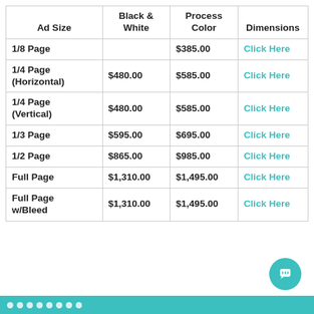| Ad Size | Black & White | Process Color | Dimensions |
| --- | --- | --- | --- |
| 1/8 Page |  | $385.00 | Click Here |
| 1/4 Page (Horizontal) | $480.00 | $585.00 | Click Here |
| 1/4 Page (Vertical) | $480.00 | $585.00 | Click Here |
| 1/3 Page | $595.00 | $695.00 | Click Here |
| 1/2 Page | $865.00 | $985.00 | Click Here |
| Full Page | $1,310.00 | $1,495.00 | Click Here |
| Full Page w/Bleed | $1,310.00 | $1,495.00 | Click Here |